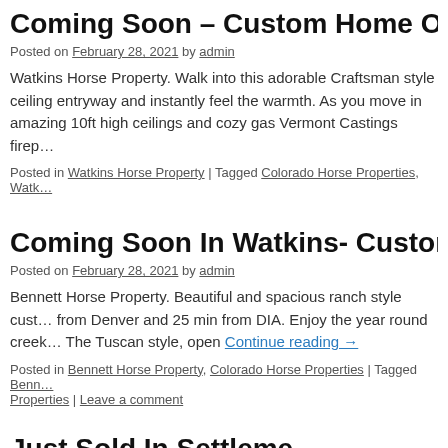Coming Soon – Custom Home On 37 Acr…
Posted on February 28, 2021 by admin
Watkins Horse Property. Walk into this adorable Craftsman style ceiling entryway and instantly feel the warmth. As you move in amazing 10ft high ceilings and cozy gas Vermont Castings firep…
Posted in Watkins Horse Property | Tagged Colorado Horse Properties, Watk…
Coming Soon In Watkins- Custom Home…
Posted on February 28, 2021 by admin
Bennett Horse Property. Beautiful and spacious ranch style cust… from Denver and 25 min from DIA. Enjoy the year round creek… The Tuscan style, open Continue reading →
Posted in Bennett Horse Property, Colorado Horse Properties | Tagged Benn… Properties | Leave a comment
Just Sold In Settleme…